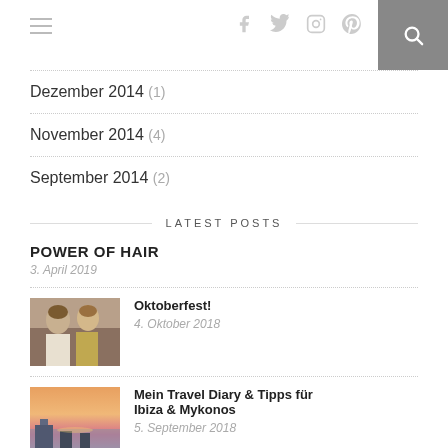Navigation header with hamburger menu, social icons (f, twitter, instagram, pinterest), and search button
Dezember 2014 (1)
November 2014 (4)
September 2014 (2)
LATEST POSTS
POWER OF HAIR
3. April 2019
[Figure (photo): Two women in festive attire at what appears to be Oktoberfest]
Oktoberfest!
4. Oktober 2018
[Figure (photo): Sunset view over Ibiza or Mykonos with pink and orange sky]
Mein Travel Diary & Tipps für Ibiza & Mykonos
5. September 2018